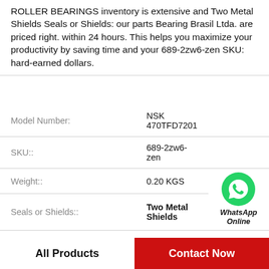ROLLER BEARINGS inventory is extensive and Two Metal Shields Seals or Shields: our parts Bearing Brasil Ltda. are priced right. within 24 hours. This helps you maximize your productivity by saving time and your 689-2zw6-zen SKU: hard-earned dollars.
| Model Number: | NSK 470TFD7201 |  |
| SKU:: | 689-2zw6-zen |  |
| Weight:: | 0.20 KGS | WhatsApp Online |
| Seals or Shields:: | Two Metal Shields |  |
| Clearance:: | Standard |  |
| B: | 6mm |  |
| Availability:: | In Stock |  |
All Products
Contact Now